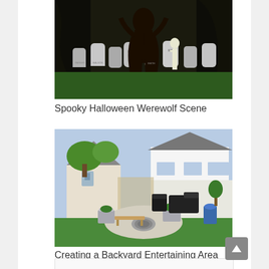[Figure (photo): Halloween yard decoration scene with tombstones, skeleton, and werewolf figure among trees at night]
Spooky Halloween Werewolf Scene
[Figure (photo): Backyard patio entertaining area with stone fire pit, planter boxes, wooden bench, and black outdoor furniture on gravel]
Creating a Backyard Entertaining Area with Paver Kits